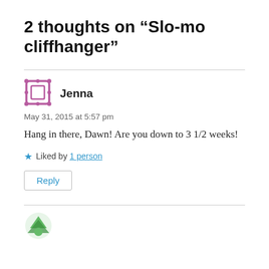2 thoughts on “Slo-mo cliffhanger”
Jenna
May 31, 2015 at 5:57 pm
Hang in there, Dawn! Are you down to 3 1/2 weeks!
Liked by 1 person
Reply